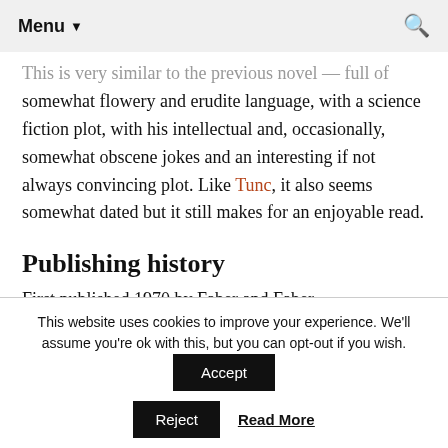Menu ▾
This is very similar to the previous novel — full of somewhat flowery and erudite language, with a science fiction plot, with his intellectual and, occasionally, somewhat obscene jokes and an interesting if not always convincing plot. Like Tunc, it also seems somewhat dated but it still makes for an enjoyable read.
Publishing history
First published 1970 by Faber and Faber
This website uses cookies to improve your experience. We'll assume you're ok with this, but you can opt-out if you wish.